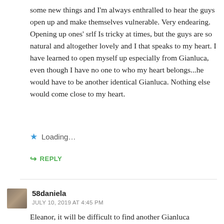some new things and I'm always enthralled to hear the guys open up and make themselves vulnerable. Very endearing. Opening up ones' srlf Is tricky at times, but the guys are so natural and altogether lovely and I that speaks to my heart. I have learned to open myself up especially from Gianluca, even though I have no one to who my heart belongs...he would have to be another identical Gianluca. Nothing else would come close to my heart.
★ Loading...
↳ REPLY
58daniela
JULY 10, 2019 AT 4:45 PM
Eleanor, it will be difficult to find another Gianluca identical inside and out !!